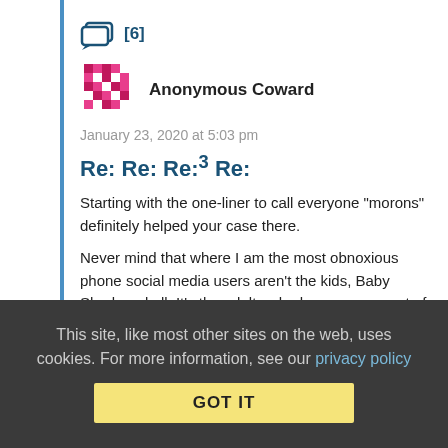[Figure (other): Chat/comment icon with [6] badge in dark blue]
[Figure (other): Pixel avatar icon in pink/magenta mosaic pattern]
Anonymous Coward
January 23, 2020 at 5:03 pm
Re: Re: Re:3 Re:
Starting with the one-liner to call everyone "morons" definitely helped your case there.
Never mind that where I am the most obnoxious phone social media users aren't the kids, Baby Shark and all. It's the adults who have no concept of inside voice, sharing anti-vaxx sites and overplayed motivational slideshows at the top of their
This site, like most other sites on the web, uses cookies. For more information, see our privacy policy
GOT IT